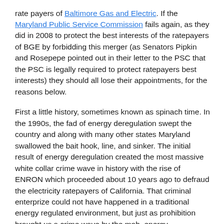rate payers of Baltimore Gas and Electric. If the Maryland Public Service Commission fails again, as they did in 2008 to protect the best interests of the ratepayers of BGE by forbidding this merger (as Senators Pipkin and Rosepepe pointed out in their letter to the PSC that the PSC is legally required to protect ratepayers best interests) they should all lose their appointments, for the reasons below.
First a little history, sometimes known as spinach time. In the 1990s, the fad of energy deregulation swept the country and along with many other states Maryland swallowed the bait hook, line, and sinker. The initial result of energy deregulation created the most massive white collar crime wave in history with the rise of ENRON which proceeded about 10 years ago to defraud the electricity ratepayers of California. That criminal enterprize could not have happened in a traditional energy regulated environment, but just as prohibition brought us a crime wave by the mob, energy deregulation produced a similar crime wave, this time in the white collar financial industry of energy trading.
In the middle of the last decade, Mayo Shattuck, CEO of Constellation Energy decided to make it an energy trading giant, only to lose so much money in the trading